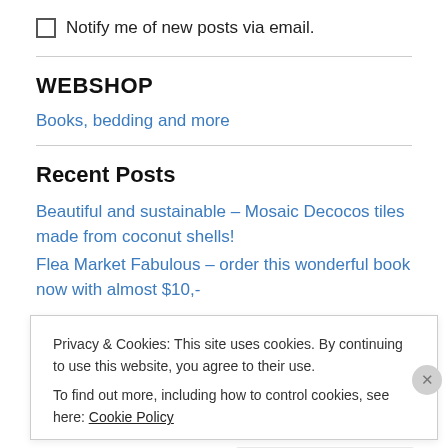Notify me of new posts via email.
WEBSHOP
Books, bedding and more
Recent Posts
Beautiful and sustainable – Mosaic Decocos tiles made from coconut shells!
Flea Market Fabulous – order this wonderful book now with almost $10,-
Privacy & Cookies: This site uses cookies. By continuing to use this website, you agree to their use.
To find out more, including how to control cookies, see here: Cookie Policy